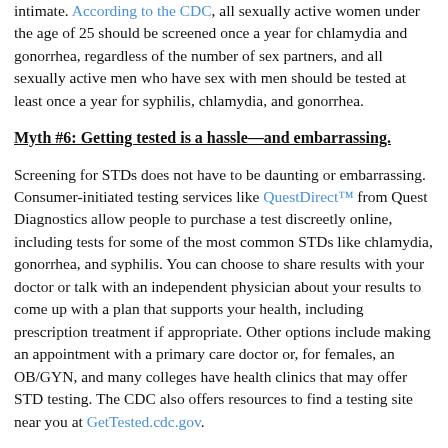intimate. According to the CDC, all sexually active women under the age of 25 should be screened once a year for chlamydia and gonorrhea, regardless of the number of sex partners, and all sexually active men who have sex with men should be tested at least once a year for syphilis, chlamydia, and gonorrhea.
Myth #6: Getting tested is a hassle—and embarrassing.
Screening for STDs does not have to be daunting or embarrassing. Consumer-initiated testing services like QuestDirect™ from Quest Diagnostics allow people to purchase a test discreetly online, including tests for some of the most common STDs like chlamydia, gonorrhea, and syphilis. You can choose to share results with your doctor or talk with an independent physician about your results to come up with a plan that supports your health, including prescription treatment if appropriate. Other options include making an appointment with a primary care doctor or, for females, an OB/GYN, and many colleges have health clinics that may offer STD testing. The CDC also offers resources to find a testing site near you at GetTested.cdc.gov.
The thought of having an STD can be scary, but most are curable and catching them early is the best way to protect yourself and others. Knowledge is power. Just remember these simple steps: S.T.D.